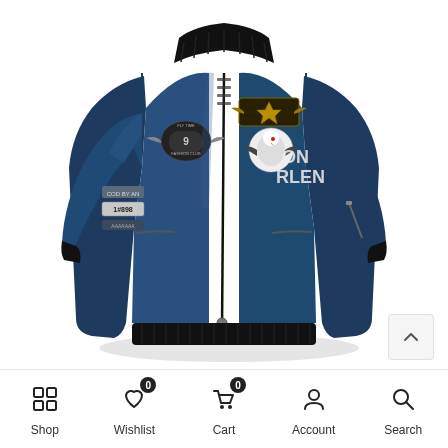[Figure (photo): A navy blue bomber jacket with black ribbed collar, cuffs and hem. Features multiple embroidered patches including wings, an eagle, and text patches on the sleeves and chest. Center front zipper. Displayed on white background.]
Shop | Wishlist 0 | Cart 0 | Account | Search